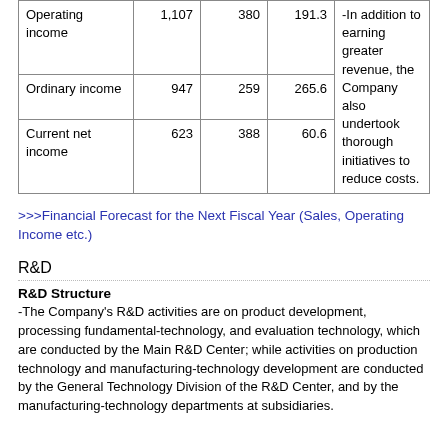|  |  |  |  |  |
| --- | --- | --- | --- | --- |
| Operating income | 1,107 | 380 | 191.3 | -In addition to earning greater revenue, the Company also undertook thorough initiatives to reduce costs. |
| Ordinary income | 947 | 259 | 265.6 |  |
| Current net income | 623 | 388 | 60.6 |  |
>>>Financial Forecast for the Next Fiscal Year (Sales, Operating Income etc.)
R&D
R&D Structure
-The Company's R&D activities are on product development, processing fundamental-technology, and evaluation technology, which are conducted by the Main R&D Center; while activities on production technology and manufacturing-technology development are conducted by the General Technology Division of the R&D Center, and by the manufacturing-technology departments at subsidiaries.